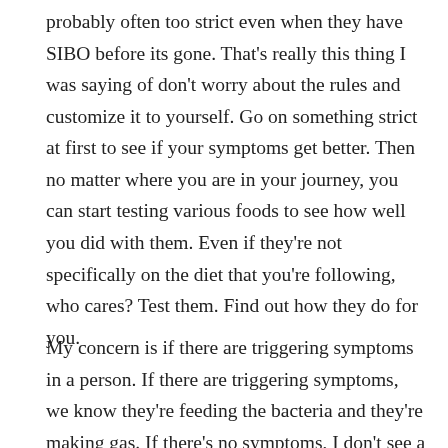probably often too strict even when they have SIBO before its gone. That's really this thing I was saying of don't worry about the rules and customize it to yourself. Go on something strict at first to see if your symptoms get better. Then no matter where you are in your journey, you can start testing various foods to see how well you did with them. Even if they're not specifically on the diet that you're following, who cares? Test them. Find out how they do for you.
My concern is if there are triggering symptoms in a person. If there are triggering symptoms, we know they're feeding the bacteria and they're making gas. If there's no symptoms, I don't see a problem. I think that's where people get too strict in their mind of the rules of these different diets and this concept of feeding the